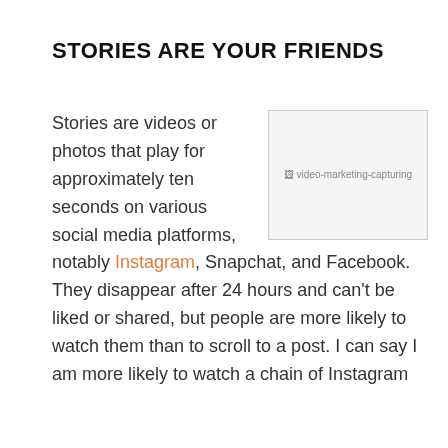STORIES ARE YOUR FRIENDS
[Figure (photo): Broken image placeholder labelled 'video-marketing-capturing']
Stories are videos or photos that play for approximately ten seconds on various social media platforms, notably Instagram, Snapchat, and Facebook. They disappear after 24 hours and can't be liked or shared, but people are more likely to watch them than to scroll to a post. I can say I am more likely to watch a chain of Instagram